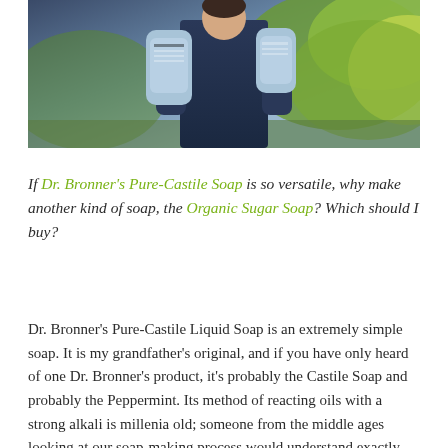[Figure (photo): A person in a dark navy jacket holding two blue cylindrical Dr. Bronner's soap containers, photographed outdoors with green foliage in the background.]
If Dr. Bronner's Pure-Castile Soap is so versatile, why make another kind of soap, the Organic Sugar Soap? Which should I buy?
Dr. Bronner's Pure-Castile Liquid Soap is an extremely simple soap. It is my grandfather's original, and if you have only heard of one Dr. Bronner's product, it's probably the Castile Soap and probably the Peppermint. Its method of reacting oils with a strong alkali is millenia old; someone from the middle ages looking at our soap-making process would understand exactly what we are doing. The art of creating the perfect Castile Soap, though, lies in the choice and balance of oils as well as other processing methods. When you have the perfect